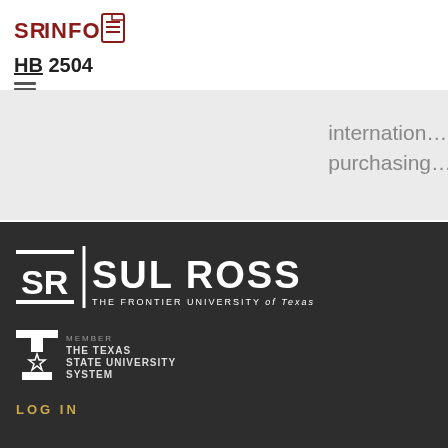[Figure (logo): SR INFO logo with document icon in red]
HB 2504
international purchasing
[Figure (logo): Sul Ross State University - The Frontier University of Texas logo in white on dark background]
[Figure (logo): Member The Texas State University System logo]
LOG IN